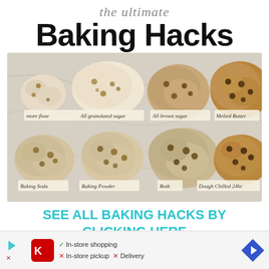the ultimate Baking Hacks
[Figure (photo): Eight chocolate chip cookies arranged in two rows of four on a marble surface, each labeled with a different variable: more flour, All granulated sugar, All brown sugar, Melted Butter, Baking Soda, Baking Powder, Both, Dough Chilled 24hr]
SEE ALL BAKING HACKS BY CLICKING HERE
[Figure (infographic): Advertisement banner: Kroger logo with in-store shopping checkmark, in-store pickup X, Delivery X, navigation arrow icon]